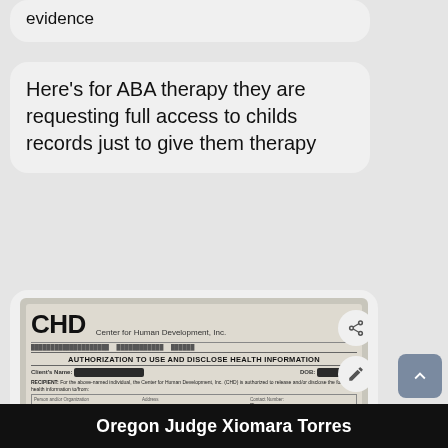evidence
Here's for ABA therapy they are requesting full access to childs records just to give them therapy
[Figure (photo): Photo of a CHD (Center for Human Development, Inc.) Authorization to Use and Disclose Health Information form, with personal identifying information redacted in black. Handwritten address visible: ARC-CHD BAPT-0D 250X Colr Ave LARD ANCH, OR. Document contains multiple sections of legal text about mental health, substance abuse, public health records, developmental disability records.]
Oregon Judge Xiomara Torres